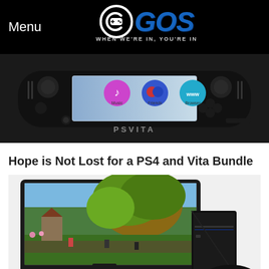Menu | CGOS - WHEN WE'RE IN, YOU'RE IN
[Figure (photo): PS Vita handheld gaming console showing home screen with app icons including Music, Friends, and Browser]
Hope is Not Lost for a PS4 and Vita Bundle
[Figure (photo): PS4 console with controller next to a Sony monitor displaying an RPG video game with green landscape and characters]